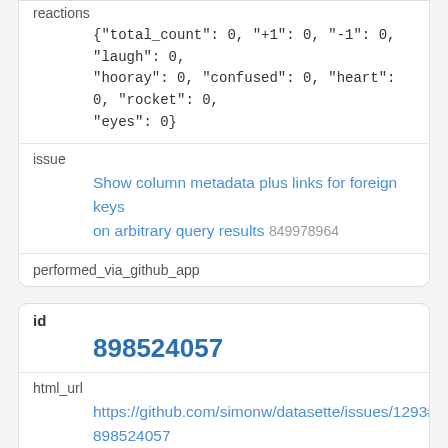reactions
{"total_count": 0, "+1": 0, "-1": 0, "laugh": 0, "hooray": 0, "confused": 0, "heart": 0, "rocket": 0, "eyes": 0}
issue
Show column metadata plus links for foreign keys on arbitrary query results 849978964
performed_via_github_app
id
898524057
html_url
https://github.com/simonw/datasette/issues/1293#iss898524057
issue_url
https://api.github.com/repos/simonw/datasette/issues
node_id
IC_kwDOBm6k_c41jmOZ
user
simonw...